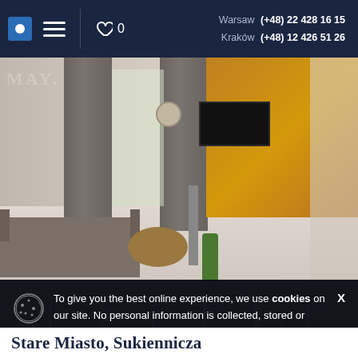Warsaw (+48) 22 428 16 15  Kraków (+48) 12 426 51 26
[Figure (photo): Interior photo of a modern apartment living room with grey sofa, wooden coffee table, grey curtains, wall-mounted TV on wooden panel accent wall]
[Figure (photo): Thumbnail strip showing 7 small apartment interior photos]
To give you the best online experience, we use cookies on our site. No personal information is collected, stored or distributed as a result of your visit to our site. By using our website you agree to usage of cookies in accordance with your browser's current settings.
Stare Miasto, Sukiennicza